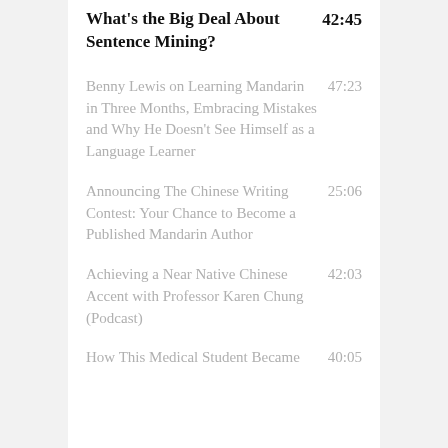What's the Big Deal About Sentence Mining?  42:45
Benny Lewis on Learning Mandarin in Three Months, Embracing Mistakes and Why He Doesn't See Himself as a Language Learner  47:23
Announcing The Chinese Writing Contest: Your Chance to Become a Published Mandarin Author  25:06
Achieving a Near Native Chinese Accent with Professor Karen Chung (Podcast)  42:03
How This Medical Student Became Totally Fluent in Chinese While Studying Medicine  40:05